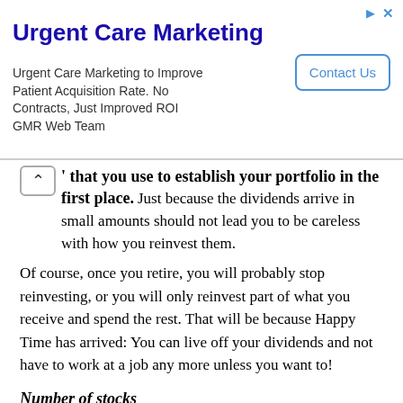[Figure (other): Advertisement banner for Urgent Care Marketing with title, description text, and Contact Us button]
that you use to establish your portfolio in the first place. Just because the dividends arrive in small amounts should not lead you to be careless with how you reinvest them.
Of course, once you retire, you will probably stop reinvesting, or you will only reinvest part of what you receive and spend the rest. That will be because Happy Time has arrived: You can live off your dividends and not have to work at a job any more unless you want to!
Number of stocks
Different investors have portfolios of different sizes. Ho...